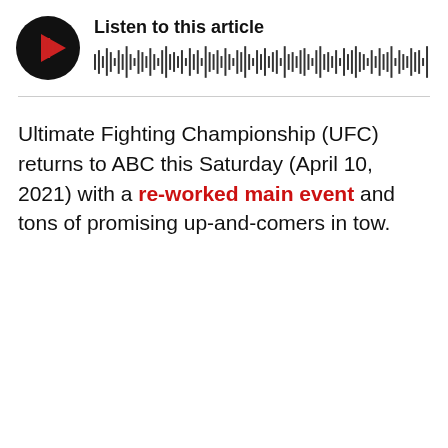[Figure (other): Audio player widget with circular black play button (red play icon with waveform bars) and text 'Listen to this article' with audio waveform visualization]
Ultimate Fighting Championship (UFC) returns to ABC this Saturday (April 10, 2021) with a re-worked main event and tons of promising up-and-comers in tow.